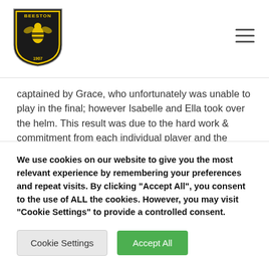[Figure (logo): Beeston hockey club shield logo — black and yellow crest with bee and '1907' text]
captained by Grace, who unfortunately was unable to play in the final; however Isabelle and Ella took over the helm. This result was due to the hard work & commitment from each individual player and the dedication of coaches and management. The team stuck by an important team ethos along the way and the group camaraderie was fantastic. The success of the team would not have been possible if it
We use cookies on our website to give you the most relevant experience by remembering your preferences and repeat visits. By clicking "Accept All", you consent to the use of ALL the cookies. However, you may visit "Cookie Settings" to provide a controlled consent.